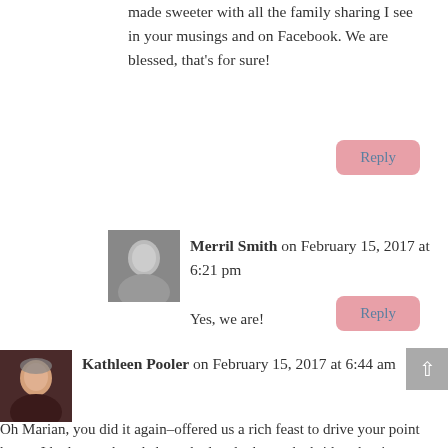made sweeter with all the family sharing I see in your musings and on Facebook. We are blessed, that's for sure!
Reply
Merril Smith on February 15, 2017 at 6:21 pm
Yes, we are!
Reply
[Figure (photo): Black and white avatar photo of Merril Smith]
Kathleen Pooler on February 15, 2017 at 6:44 am
[Figure (photo): Color avatar photo of Kathleen Pooler]
Oh Marian, you did it again–offered us a rich feast to drive your point home. I had never heard about the lovelocks on the bridges but it speaks to the power of love. The three